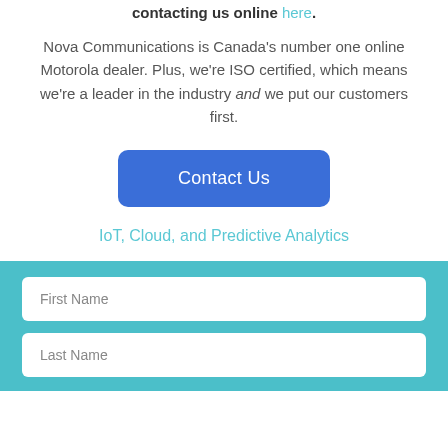contacting us online here.
Nova Communications is Canada's number one online Motorola dealer. Plus, we're ISO certified, which means we're a leader in the industry and we put our customers first.
Contact Us
IoT, Cloud, and Predictive Analytics
First Name
Last Name